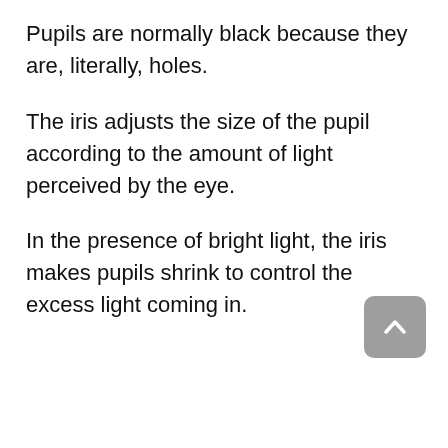Pupils are normally black because they are, literally, holes.
The iris adjusts the size of the pupil according to the amount of light perceived by the eye.
In the presence of bright light, the iris makes pupils shrink to control the excess light coming in.